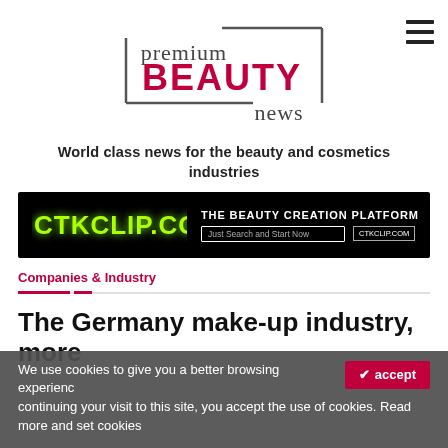[Figure (logo): Premium Beauty News logo with box border, bold red BEAUTY text, and gray premium/news text]
World class news for the beauty and cosmetics industries
[Figure (infographic): CTKCLIP.COM advertisement banner on black background: The Beauty Creation Platform, Just Search and Start Now, ctkclip.com]
Companies & Industry
The Germany make-up industry, more
We use cookies to give you a better browsing experience. By continuing your visit to this site, you accept the use of cookies. Read more and set cookies